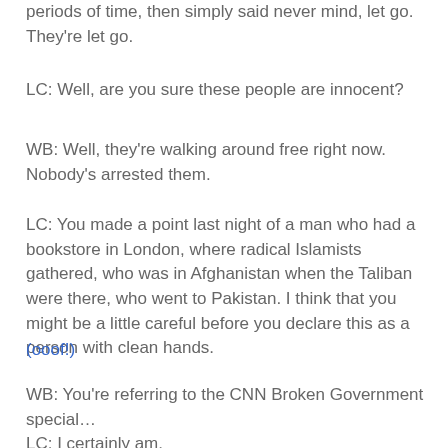periods of time, then simply said never mind, let go. They're let go.
LC: Well, are you sure these people are innocent?
WB: Well, they're walking around free right now. Nobody's arrested them.
LC: You made a point last night of a man who had a bookstore in London, where radical Islamists gathered, who was in Afghanistan when the Taliban were there, who went to Pakistan. I think that you might be a little careful before you declare this as a person with clean hands.
(ooof!)
WB: You're referring to the CNN Broken Government special…
LC: I certainly am.
WB: This was the one that John King reported on last night